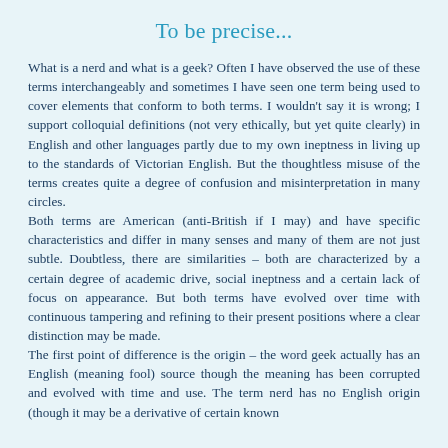To be precise...
What is a nerd and what is a geek? Often I have observed the use of these terms interchangeably and sometimes I have seen one term being used to cover elements that conform to both terms. I wouldn't say it is wrong; I support colloquial definitions (not very ethically, but yet quite clearly) in English and other languages partly due to my own ineptness in living up to the standards of Victorian English. But the thoughtless misuse of the terms creates quite a degree of confusion and misinterpretation in many circles. Both terms are American (anti-British if I may) and have specific characteristics and differ in many senses and many of them are not just subtle. Doubtless, there are similarities – both are characterized by a certain degree of academic drive, social ineptness and a certain lack of focus on appearance. But both terms have evolved over time with continuous tampering and refining to their present positions where a clear distinction may be made. The first point of difference is the origin – the word geek actually has an English (meaning fool) source though the meaning has been corrupted and evolved with time and use. The term nerd has no English origin (though it may be a derivative of certain known